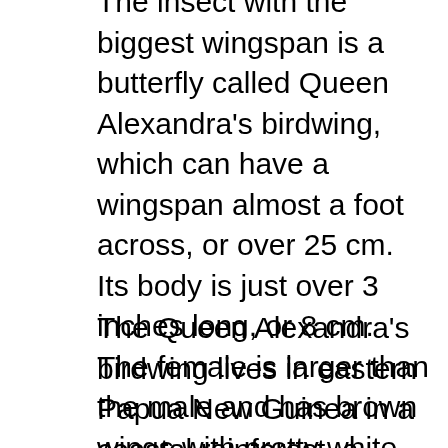The insect with the biggest wingspan is a butterfly called Queen Alexandra's birdwing, which can have a wingspan almost a foot across, or over 25 cm. Its body is just over 3 inches long, or 8 cm. The female is larger than the male and has brown wings with pretty white and yellow markings. The male looks much different, with iridescent blue-green wings and a bright yellow abdomen. The butterfly is a strong flyer that spends a lot of time flying much higher that typical butterflies do. Males court females with a spectacular aerial dance.
The Queen Alexandra's birdwing lives in eastern Papua New Guinea in a coastal rainforest, a habitat that is only about 40 square miles total, or 100 square km. Not only is it threatened by habitat loss due to palm oil plantations, which are absolutely insidious and seriously, you should stop buying products that use palm oil, but a volcanic eruption in the 1950s destroyed part of its habitat too. It's